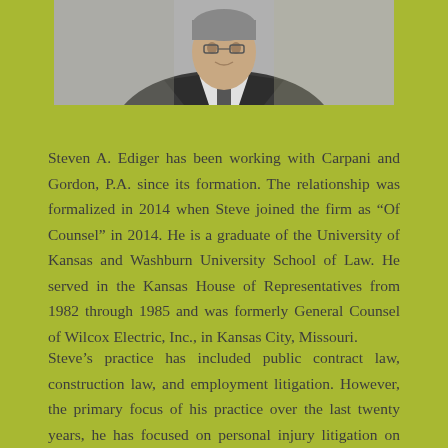[Figure (photo): Professional headshot/portrait photo of Steven A. Ediger, a man in a dark suit, upper body visible against a light background.]
Steven A. Ediger has been working with Carpani and Gordon, P.A. since its formation. The relationship was formalized in 2014 when Steve joined the firm as “Of Counsel” in 2014. He is a graduate of the University of Kansas and Washburn University School of Law. He served in the Kansas House of Representatives from 1982 through 1985 and was formerly General Counsel of Wilcox Electric, Inc., in Kansas City, Missouri.
Steve’s practice has included public contract law, construction law, and employment litigation. However, the primary focus of his practice over the last twenty years, he has focused on personal injury litigation on behalf of both plaintiffs and defendants. Steve has